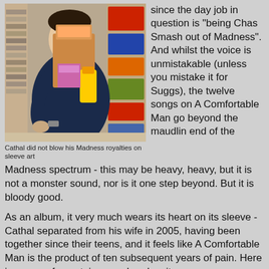[Figure (photo): Person in a store carrying multiple items including bags and a yellow bottle, viewed from behind/side]
Cathal did not blow his Madness royalties on sleeve art
since the day job in question is "being Chas Smash out of Madness". And whilst the voice is unmistakable (unless you mistake it for Suggs), the twelve songs on A Comfortable Man go beyond the maudlin end of the Madness spectrum - this may be heavy, heavy, but it is not a monster sound, nor is it one step beyond. But it is bloody good.
As an album, it very much wears its heart on its sleeve - Cathal separated from his wife in 2005, having been together since their teens, and it feels like A Comfortable Man is the product of ten subsequent years of pain. Here is a man of a certain age who, despite success on so many levels, is struggling to reconcile the fact that the fundamental cornerstones of his life have not worked out as he would